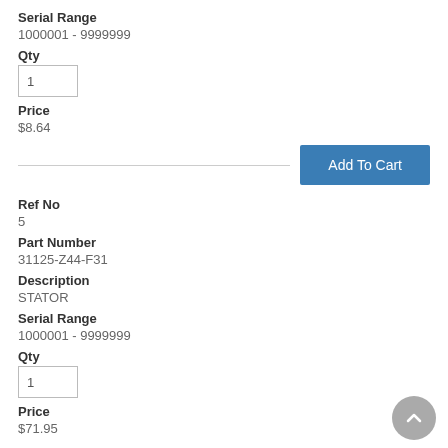Serial Range
1000001 - 9999999
Qty
1
Price
$8.64
Add To Cart
Ref No
5
Part Number
31125-Z44-F31
Description
STATOR
Serial Range
1000001 - 9999999
Qty
1
Price
$71.95